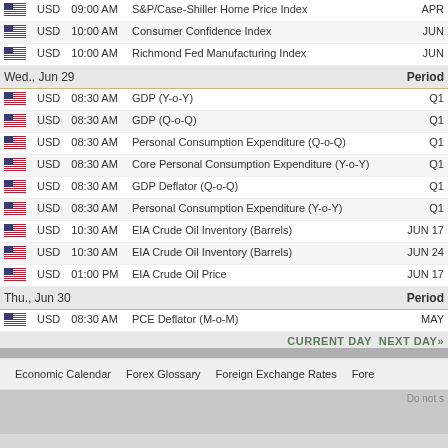| Flag | Currency | Time | Event | Period |
| --- | --- | --- | --- | --- |
| 🇺🇸 | USD | 09:00 AM | S&P/Case-Shiller Home Price Index | APR |
| 🇺🇸 | USD | 10:00 AM | Consumer Confidence Index | JUN |
| 🇺🇸 | USD | 10:00 AM | Richmond Fed Manufacturing Index | JUN |
| Wed., Jun 29 |  |  |  | Period |
| 🇺🇸 | USD | 08:30 AM | GDP (Y-o-Y) | Q1 |
| 🇺🇸 | USD | 08:30 AM | GDP (Q-o-Q) | Q1 |
| 🇺🇸 | USD | 08:30 AM | Personal Consumption Expenditure (Q-o-Q) | Q1 |
| 🇺🇸 | USD | 08:30 AM | Core Personal Consumption Expenditure (Y-o-Y) | Q1 |
| 🇺🇸 | USD | 08:30 AM | GDP Deflator (Q-o-Q) | Q1 |
| 🇺🇸 | USD | 08:30 AM | Personal Consumption Expenditure (Y-o-Y) | Q1 |
| 🇺🇸 | USD | 10:30 AM | EIA Crude Oil Inventory (Barrels) | JUN 17 |
| 🇺🇸 | USD | 10:30 AM | EIA Crude Oil Inventory (Barrels) | JUN 24 |
| 🇺🇸 | USD | 01:00 PM | EIA Crude Oil Price | JUN 17 |
| Thu., Jun 30 |  |  |  | Period |
| 🇺🇸 | USD | 08:30 AM | PCE Deflator (M-o-M) | MAY |
CURRENT DAY  NEXT DAY»
Economic Calendar   Forex Glossary   Foreign Exchange Rates   Fore
Do not s